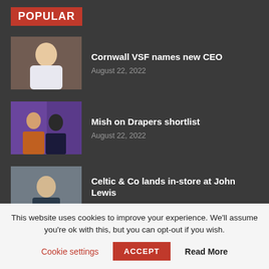POPULAR
Cornwall VSF names new CEO
Mish on Drapers shortlist
Celtic & Co lands in-store at John Lewis
(partial item, cut off)
This website uses cookies to improve your experience. We'll assume you're ok with this, but you can opt-out if you wish.